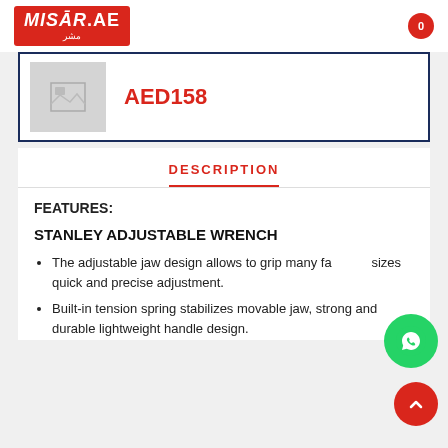MISAR.AE
[Figure (other): Product image placeholder (grey box with image icon)]
AED158
DESCRIPTION
FEATURES:
STANLEY ADJUSTABLE WRENCH
The adjustable jaw design allows to grip many fastener sizes quick and precise adjustment.
Built-in tension spring stabilizes movable jaw, strong and durable lightweight handle design.